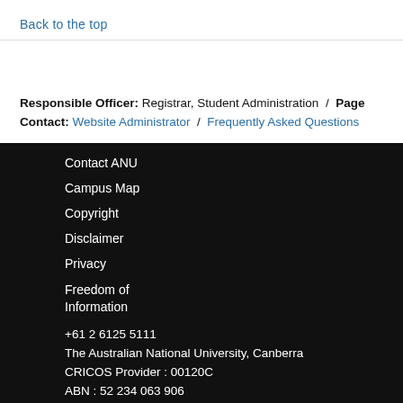Back to the top
Responsible Officer: Registrar, Student Administration / Page Contact: Website Administrator / Frequently Asked Questions
Contact ANU
Campus Map
Copyright
Disclaimer
Privacy
Freedom of Information
+61 2 6125 5111
The Australian National University, Canberra
CRICOS Provider : 00120C
ABN : 52 234 063 906
[Figure (logo): GROUP logo with mountain/triangle icon and GROUP text]